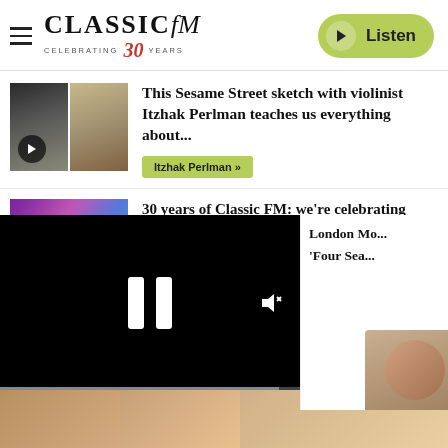[Figure (logo): Classic FM logo with 'Celebrating 30 Years' tagline and Listen button]
[Figure (photo): Thumbnail showing two images: a musician bowing and Itzhak Perlman playing violin, with a play button overlay]
This Sesame Street sketch with violinist Itzhak Perlman teaches us everything about...
Itzhak Perlman »
[Figure (photo): Colorful abstract/artistic thumbnail image]
30 years of Classic FM: we're celebrating
...erviews...
[Figure (screenshot): Black video player overlay showing pause icon and mute icon]
London Mo...
'Four Sea...